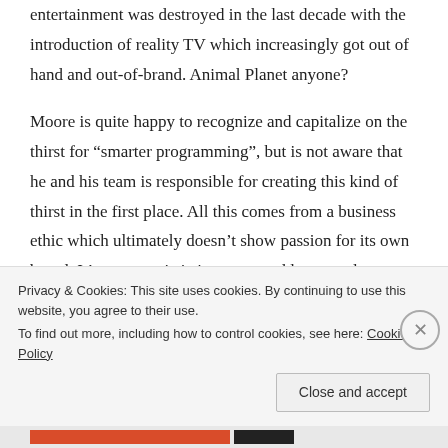entertainment was destroyed in the last decade with the introduction of reality TV which increasingly got out of hand and out-of-brand. Animal Planet anyone?
Moore is quite happy to recognize and capitalize on the thirst for “smarter programming”, but is not aware that he and his team is responsible for creating this kind of thirst in the first place. All this comes from a business ethic which ultimately doesn’t show passion for its own brand. It’s opportunistic in nature and leaves a dry taste of old-school marketing where only graphs and
Privacy & Cookies: This site uses cookies. By continuing to use this website, you agree to their use.
To find out more, including how to control cookies, see here: Cookie Policy
Close and accept